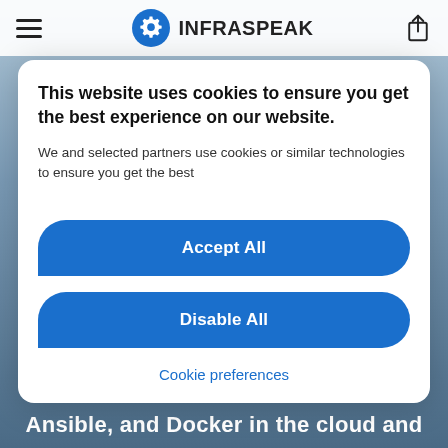[Figure (screenshot): Infraspeak website header with hamburger menu icon on the left, Infraspeak logo (blue gear icon and bold text) in the center, and share icon on the right, on a white navigation bar.]
This website uses cookies to ensure you get the best experience on our website.
We and selected partners use cookies or similar technologies to ensure you get the best
Accept All
Disable All
Cookie preferences
Ansible, and Docker in the cloud and